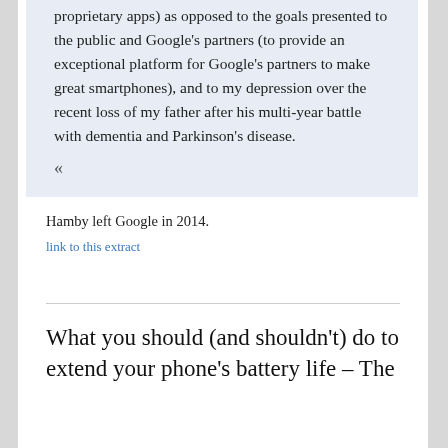proprietary apps) as opposed to the goals presented to the public and Google's partners (to provide an exceptional platform for Google's partners to make great smartphones), and to my depression over the recent loss of my father after his multi-year battle with dementia and Parkinson's disease.
«
Hamby left Google in 2014.
link to this extract
What you should (and shouldn't) do to extend your phone's battery life – The